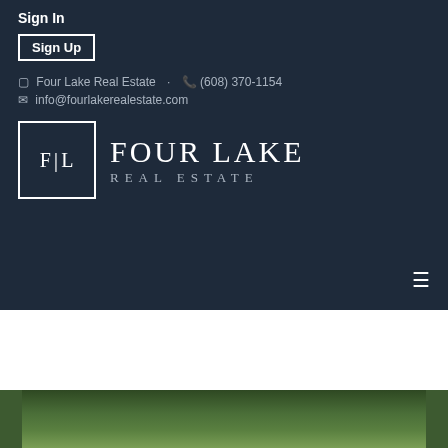Sign In
Sign Up
Four Lake Real Estate · (608) 370-1154
info@fourlakerealestate.com
[Figure (logo): Four Lake Real Estate logo: white square with F|L initials and text 'FOUR LAKE REAL ESTATE']
[Figure (photo): Outdoor photo showing trees and greenery]